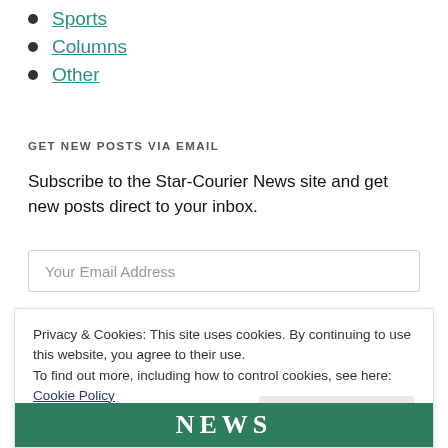Sports
Columns
Other
GET NEW POSTS VIA EMAIL
Subscribe to the Star-Courier News site and get new posts direct to your inbox.
Your Email Address
Privacy & Cookies: This site uses cookies. By continuing to use this website, you agree to their use.
To find out more, including how to control cookies, see here: Cookie Policy
Close and accept
[Figure (logo): Green banner with NEWS text in white serif letters]